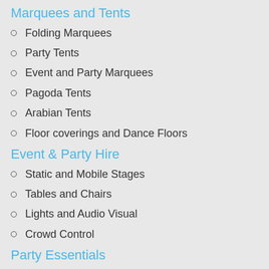Marquees and Tents
Folding Marquees
Party Tents
Event and Party Marquees
Pagoda Tents
Arabian Tents
Floor coverings and Dance Floors
Event & Party Hire
Static and Mobile Stages
Tables and Chairs
Lights and Audio Visual
Crowd Control
Party Essentials
Plastic Cocktail Glasses
Outdoors Heaters
Deals & Packages
Disposables